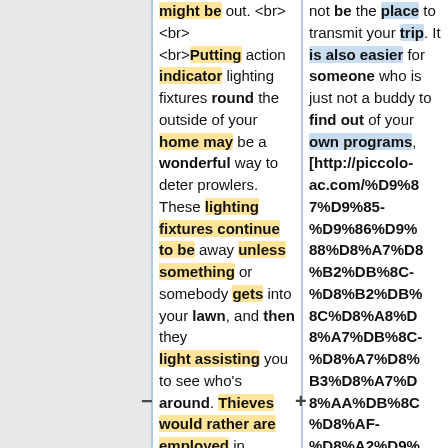might be out. <br><br> <br>Putting action indicator lighting fixtures round the outside of your home may be a wonderful way to deter prowlers. These lighting fixtures continue to be away unless something or somebody gets into your lawn, and then they − light assisting you to see who's around. Thieves would rather are employed in
not be the place to transmit your trip. It is also easier for someone who is just not a buddy to find out of your own programs, [http://piccolo-ac.com/%D9%87%D9%85-%D9%86%D9%88%D8%A7%D8%B2%DB%8C-%D8%B2%DB%8C%D8%A8%D9%87D8%A7%DB%8C-%D8%A7%D8%B3%D8%A7%D8%AA%DB%8C%D8%AF-... %D8%A2%D9%9%]